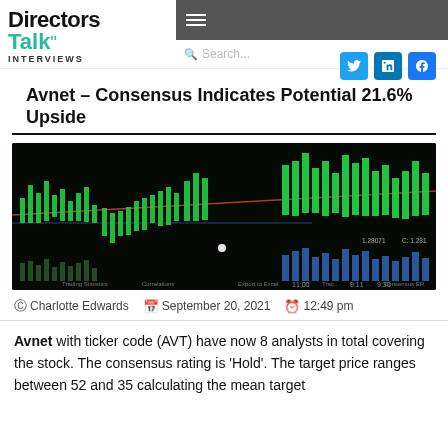Directors Talk Interviews
Avnet – Consensus Indicates Potential 21.6% Upside
[Figure (screenshot): Stock market candlestick chart showing green candlesticks on a dark background with volume bars at the bottom, displaying trading data for a financial instrument.]
@Charlotte Edwards  September 20, 2021  12:49 pm
Avnet with ticker code (AVT) have now 8 analysts in total covering the stock. The consensus rating is 'Hold'. The target price ranges between 52 and 35 calculating the mean target